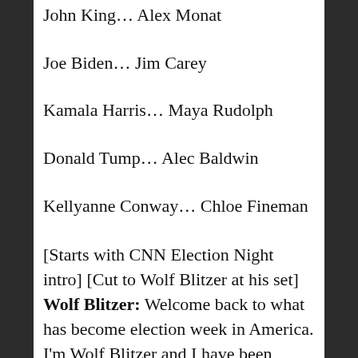John King... Alex Monat
Joe Biden... Jim Carey
Kamala Harris... Maya Rudolph
Donald Tump... Alec Baldwin
Kellyanne Conway... Chloe Fineman
[Starts with CNN Election Night intro] [Cut to Wolf Blitzer at his set]
Wolf Blitzer: Welcome back to what has become election week in America. I'm Wolf Blitzer and I have been awake so long that my weird beard finally makes sense. I'm joined by John King who has been